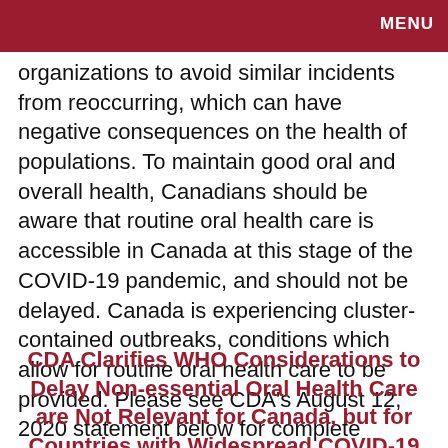MENU
organizations to avoid similar incidents from reoccurring, which can have negative consequences on the health of populations. To maintain good oral and overall health, Canadians should be aware that routine oral health care is accessible in Canada at this stage of the COVID-19 pandemic, and should not be delayed. Canada is experiencing cluster-contained outbreaks, conditions which allow for routine oral health care to be provided. Please see CDA's August 12, 2020 statement below for complete details.
CDA Clarifies WHO Considerations to Delay Non-essential Oral Health Care are Not Relevant for Canada, but for Countries with Widespread COVID-19